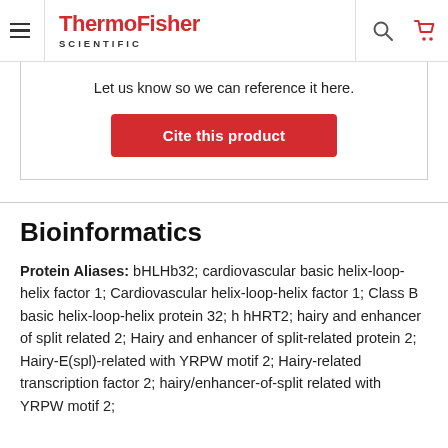ThermoFisher Scientific
Let us know so we can reference it here.
Cite this product
Bioinformatics
Protein Aliases: bHLHb32; cardiovascular basic helix-loop-helix factor 1; Cardiovascular helix-loop-helix factor 1; Class B basic helix-loop-helix protein 32; h hHRT2; hairy and enhancer of split related 2; Hairy and enhancer of split-related protein 2; Hairy-E(spl)-related with YRPW motif 2; Hairy-related transcription factor 2; hairy/enhancer-of-split related with YRPW motif 2;